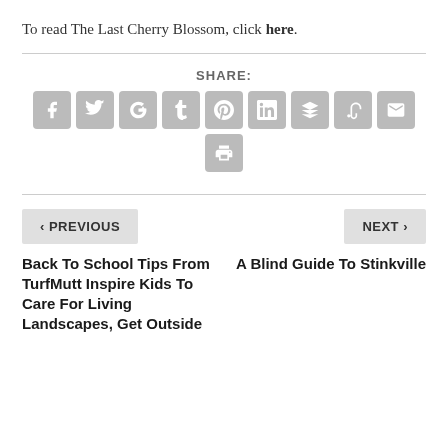To read The Last Cherry Blossom, click here.
[Figure (infographic): Social share buttons: Facebook, Twitter, Google+, Tumblr, Pinterest, LinkedIn, Buffer, StumbleUpon, Email, Print]
< PREVIOUS
NEXT >
Back To School Tips From TurfMutt Inspire Kids To Care For Living Landscapes, Get Outside
A Blind Guide To Stinkville